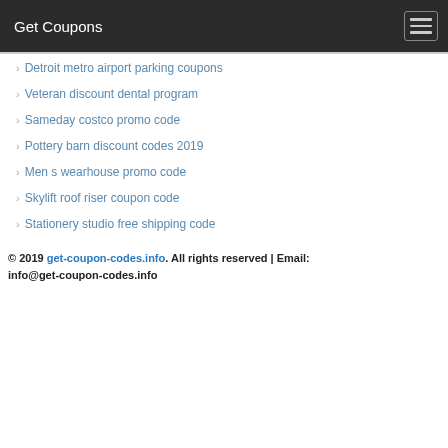Get Coupons
Detroit metro airport parking coupons
Veteran discount dental program
Sameday costco promo code
Pottery barn discount codes 2019
Men s wearhouse promo code
Skylift roof riser coupon code
Stationery studio free shipping code
© 2019 get-coupon-codes.info. All rights reserved | Email: info@get-coupon-codes.info